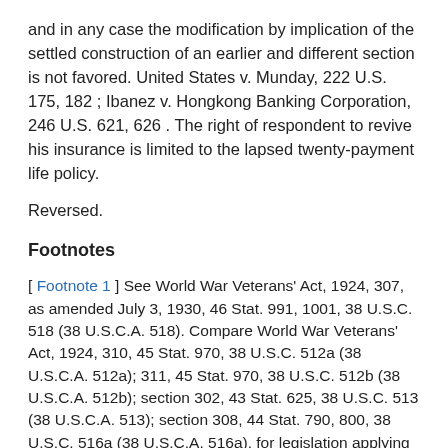and in any case the modification by implication of the settled construction of an earlier and different section is not favored. United States v. Munday, 222 U.S. 175, 182 ; Ibanez v. Hongkong Banking Corporation, 246 U.S. 621, 626 . The right of respondent to revive his insurance is limited to the lapsed twenty-payment life policy.
Reversed.
Footnotes
[ Footnote 1 ] See World War Veterans' Act, 1924, 307, as amended July 3, 1930, 46 Stat. 991, 1001, 38 U.S.C. 518 (38 U.S.C.A. 518). Compare World War Veterans' Act, 1924, 310, 45 Stat. 970, 38 U.S.C. 512a (38 U.S.C.A. 512a); 311, 45 Stat. 970, 38 U.S.C. 512b (38 U.S.C.A. 512b); section 302, 43 Stat. 625, 38 U.S.C. 513 (38 U.S.C.A. 513); section 308, 44 Stat. 790, 800, 38 U.S.C. 516a (38 U.S.C.A. 516a), for legislation applying the term 'converted' to the subsequent United